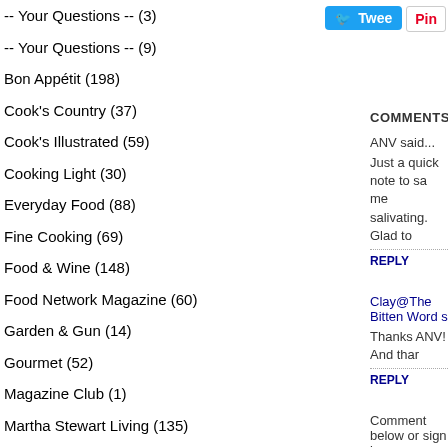-- Your Questions -- (3)
-- Your Questions -- (9)
Bon Appétit (198)
Cook's Country (37)
Cook's Illustrated (59)
Cooking Light (30)
Everyday Food (88)
Fine Cooking (69)
Food & Wine (148)
Food Network Magazine (60)
Garden & Gun (14)
Gourmet (52)
Magazine Club (1)
Martha Stewart Living (135)
Our Own Recipes (75)
Real Simple (2)
Recipes From Other Sources (64)
Saveur (60)
[Figure (screenshot): Twitter Tweet button (blue)]
[Figure (screenshot): Pinterest Pin button]
COMMENTS
ANV said...
Just a quick note to sa... me salivating. Glad to
REPLY
Clay@The Bitten Word s...
Thanks ANV! And thar...
REPLY
Comment below or sign in...